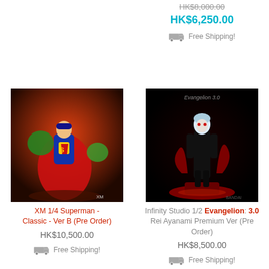HK$8,000.00 (strikethrough)
HK$6,250.00
Free Shipping!
[Figure (photo): XM Studios Superman 1/4 scale statue figurine with red cape fighting Brainiac, on an orange-red background]
[Figure (photo): Infinity Studio 1/2 scale Evangelion 3.0 Rei Ayanami Premium Ver figurine in black bodysuit on red base, dark background]
XM 1/4 Superman - Classic - Ver B (Pre Order)
HK$10,500.00
Free Shipping!
Infinity Studio 1/2 Evangelion: 3.0 Rei Ayanami Premium Ver (Pre Order)
HK$8,500.00
Free Shipping!